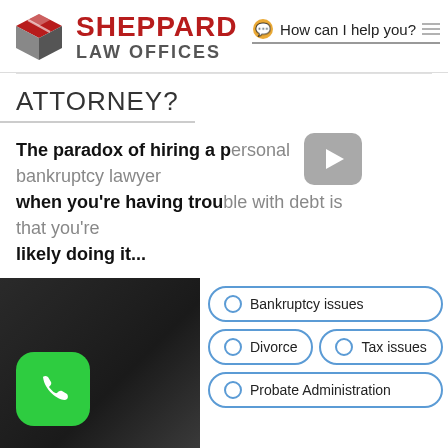[Figure (logo): Sheppard Law Offices logo with geometric cube icon in red and grey, company name in red bold text and grey 'LAW OFFICES' subtitle]
How can I help you?
ATTORNEY?
The paradox of hiring a personal bankruptcy lawyer when you're having trouble with debt is that you're likely doing it...
[Figure (other): Share button (red) and READ MORE button (outlined red border), plus green phone call button]
[Figure (photo): Dark background photo in bottom left]
Bankruptcy issues
Divorce
Tax issues
Probate Administration